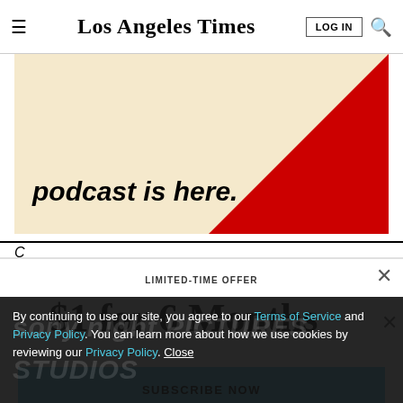Los Angeles Times
[Figure (illustration): Advertisement banner with beige/cream background reading 'podcast is here.' in bold italic text, with a red diagonal triangle in the bottom-right corner.]
C... [partial headline text partially visible]
LIMITED-TIME OFFER
$1 for 6 Months
SUBSCRIBE NOW
By continuing to use our site, you agree to our Terms of Service and Privacy Policy. You can learn more about how we use cookies by reviewing our Privacy Policy. Close